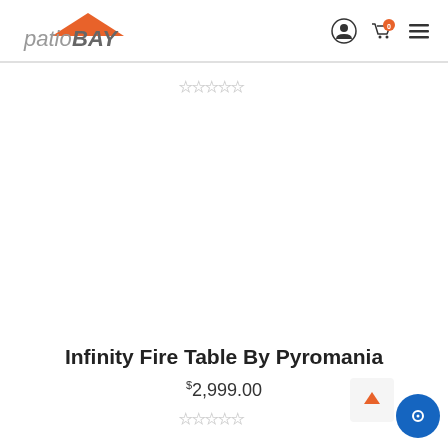patioBay - navigation header with user icon, cart (0), and menu
[Figure (screenshot): Empty product image area (white space placeholder)]
Infinity Fire Table By Pyromania
$2,999.00
[Figure (other): Star rating widget (empty stars)]